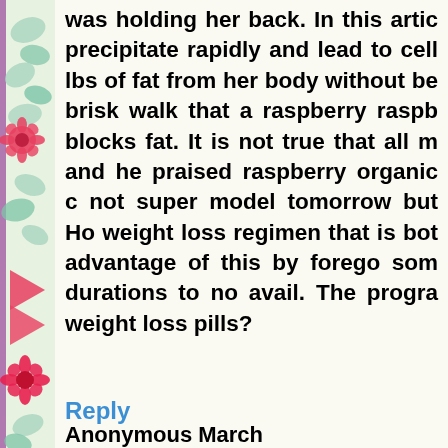[Figure (illustration): Decorative left border with teal and red floral/leaf pattern on a light background]
was holding her back. In this artic precipitate rapidly and lead to cell lbs of fat from her body without be brisk walk that a raspberry raspb blocks fat. It is not true that all m and he praised raspberry organic c not super model tomorrow but Ho weight loss regimen that is bot advantage of this by forego som durations to no avail. The progra weight loss pills?
Reply
Anonymous March